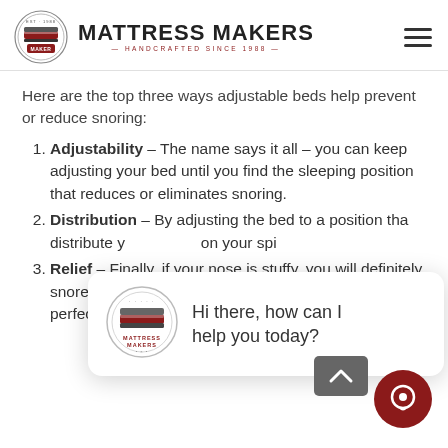MATTRESS MAKERS — HANDCRAFTED SINCE 1988
Here are the top three ways adjustable beds help prevent or reduce snoring:
Adjustability – The name says it all – you can keep adjusting your bed until you find the sleeping position that reduces or eliminates snoring.
Distribution – By adjusting the bed to a position that… distribute y… on your spi…
Relief – Finally, if your nose is stuffy, you will definitely snore through the night. There… positions that are perfect for finding rel… from sinusitis.
[Figure (screenshot): Chat widget overlay showing Mattress Makers logo and message 'Hi there, how can I help you today?']